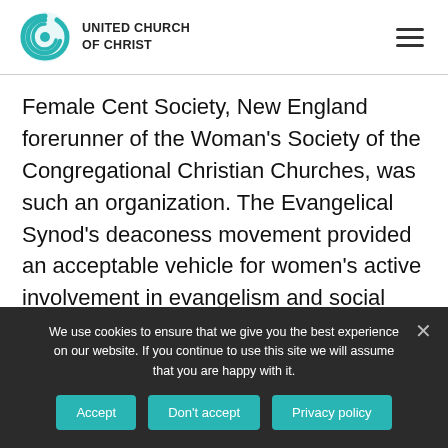[Figure (logo): United Church of Christ logo with teal swirl/globe icon and bold text 'UNITED CHURCH OF CHRIST']
Female Cent Society, New England forerunner of the Woman's Society of the Congregational Christian Churches, was such an organization. The Evangelical Synod's deaconess movement provided an acceptable vehicle for women's active involvement in evangelism and social service. Through periodicals, study circles, and
We use cookies to ensure that we give you the best experience on our website. If you continue to use this site we will assume that you are happy with it.
Accept | Don't accept | Privacy policy